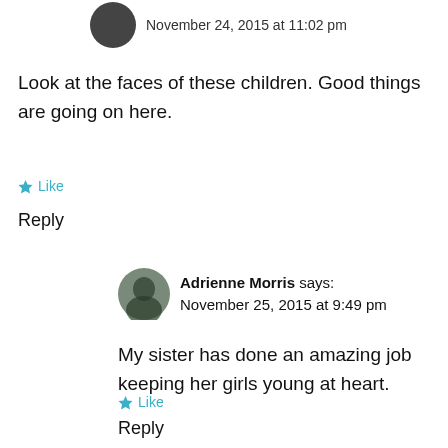November 24, 2015 at 11:02 pm
Look at the faces of these children. Good things are going on here.
Like
Reply
[Figure (photo): Circular avatar photo of a person (Adrienne Morris)]
Adrienne Morris says: November 25, 2015 at 9:49 pm
My sister has done an amazing job keeping her girls young at heart.
Like
Reply